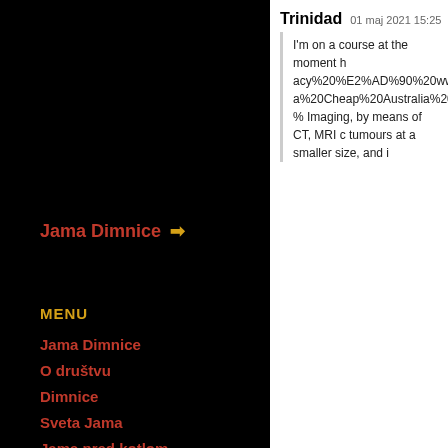Jama Dimnice →
MENU
Jama Dimnice
O društvu
Dimnice
Sveta Jama
Jama pred kotlom
Trinidad   01 maj 2021 15:25
I'm on a course at the moment h acy%20%E2%AD%90%20www a%20Cheap%20Australia%20-% Imaging, by means of CT, MRI c tumours at a smaller size, and i